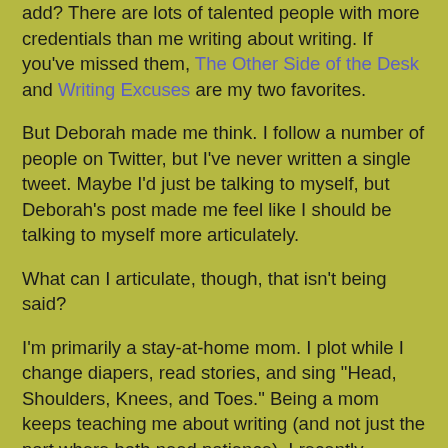add?  There are lots of talented people with more credentials than me writing about writing.  If you've missed them, The Other Side of the Desk and Writing Excuses are my two favorites.
But Deborah made me think.  I follow a number of people on Twitter, but I've never written a single tweet.  Maybe I'd just be talking to myself, but Deborah's post made me feel like I should be talking to myself more articulately.
What can I articulate, though, that isn't being said?
I'm primarily a stay-at-home mom.  I plot while I change diapers, read stories, and sing "Head, Shoulders, Knees, and Toes."  Being a mom keeps teaching me about writing (and not just the part where both need patience).  I recently blogged about how watching the same movie over and over with my toddler really let me pick apart the scene structure and how the conflict, goals, and stakes were developed.  I also often think about how cultures percieve the world as I watch my baby work on language development.
Maybe that the linguistics and find it fascinating that